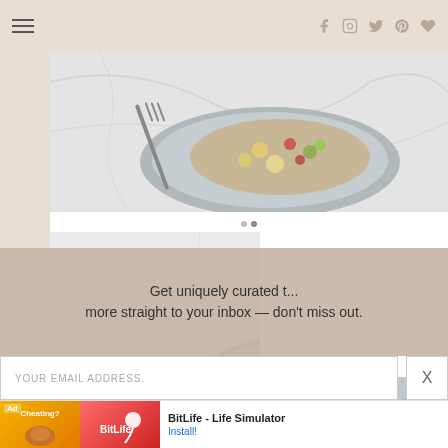Navigation header with hamburger menu and social icons (Facebook, Instagram, Twitter, Pinterest, Heart)
[Figure (photo): Overhead shot of a plate with grain salad containing chickpeas, colorful vegetables, herbs on a white marble surface with a fork]
[Figure (photo): Overhead shot of a plate with grain/legume salad on a white marble surface, partially obscured by white overlay]
Get uniquely curated t... more straight to your inbox — don't miss out.
YOUR EMAIL ADDRESS.
[Figure (screenshot): Ad banner: BitLife - Life Simulator with Install button]